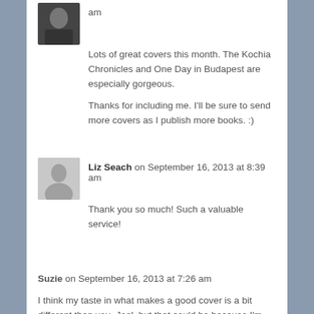am
Lots of great covers this month. The Kochia Chronicles and One Day in Budapest are especially gorgeous.
Thanks for including me. I'll be sure to send more covers as I publish more books. :)
Liz Seach on September 16, 2013 at 8:39 am
Thank you so much! Such a valuable service!
Suzie on September 16, 2013 at 7:26 am
I think my taste in what makes a good cover is a bit different than you, Joel, but that could be because I'm coming from a female